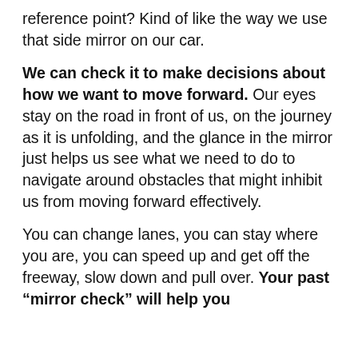reference point? Kind of like the way we use that side mirror on our car.
We can check it to make decisions about how we want to move forward. Our eyes stay on the road in front of us, on the journey as it is unfolding, and the glance in the mirror just helps us see what we need to do to navigate around obstacles that might inhibit us from moving forward effectively.
You can change lanes, you can stay where you are, you can speed up and get off the freeway, slow down and pull over. Your past “mirror check” will help you